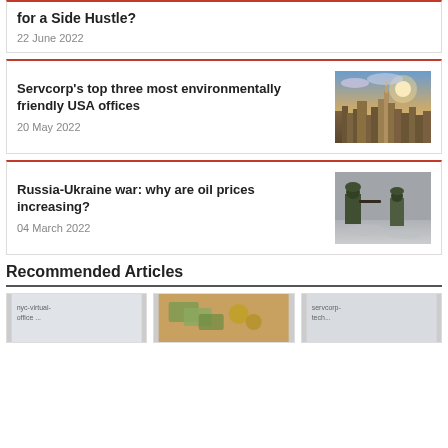for a Side Hustle?
22 June 2022
Servcorp's top three most environmentally friendly USA offices
20 May 2022
[Figure (photo): NYC skyline at sunset with skyscrapers and blue sky]
Russia-Ukraine war: why are oil prices increasing?
04 March 2022
[Figure (photo): Soldiers in winter military gear]
Recommended Articles
[Figure (photo): nyc-virtual-office image placeholder]
[Figure (photo): Money and financial items photo]
[Figure (photo): servcorp technology photo placeholder]